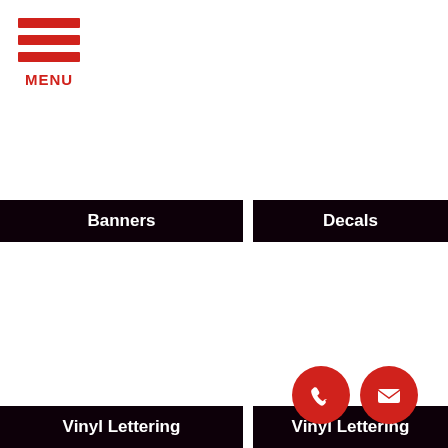[Figure (logo): Red hamburger menu icon with three horizontal red bars and the word MENU in red below]
Banners
Decals
Vinyl Lettering
Vinyl Lettering
[Figure (illustration): Red circle button with white phone handset icon]
[Figure (illustration): Red circle button with white envelope/mail icon]